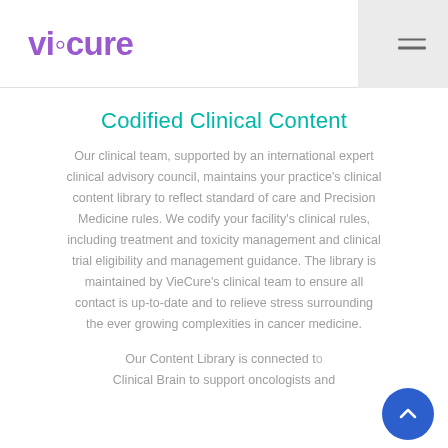VieCure — navigation header with logo and hamburger menu
Codified Clinical Content
Our clinical team, supported by an international expert clinical advisory council, maintains your practice's clinical content library to reflect standard of care and Precision Medicine rules. We codify your facility's clinical rules, including treatment and toxicity management and clinical trial eligibility and management guidance. The library is maintained by VieCure's clinical team to ensure all contact is up-to-date and to relieve stress surrounding the ever growing complexities in cancer medicine.
Our Content Library is connected to Clinical Brain to support oncologists and